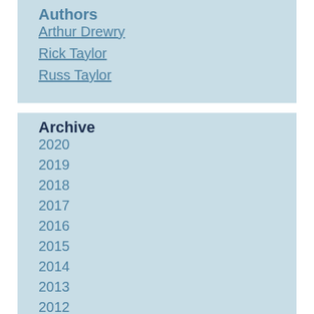Authors
Arthur Drewry
Rick Taylor
Russ Taylor
Archive
2020
2019
2018
2017
2016
2015
2014
2013
2012